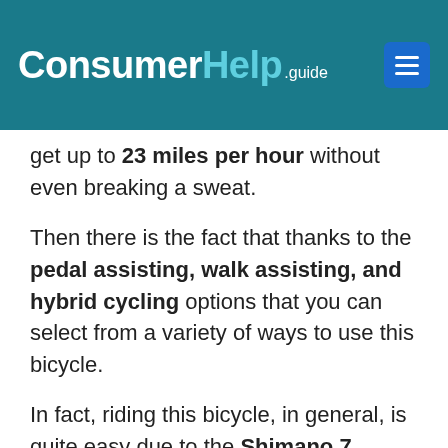ConsumerHelp.guide
get up to 23 miles per hour without even breaking a sweat.
Then there is the fact that thanks to the pedal assisting, walk assisting, and hybrid cycling options that you can select from a variety of ways to use this bicycle.
In fact, riding this bicycle, in general, is quite easy due to the Shimano 7 Gears Shifting System which makes the bike rather simple to maneuver.
You will also find that this bike